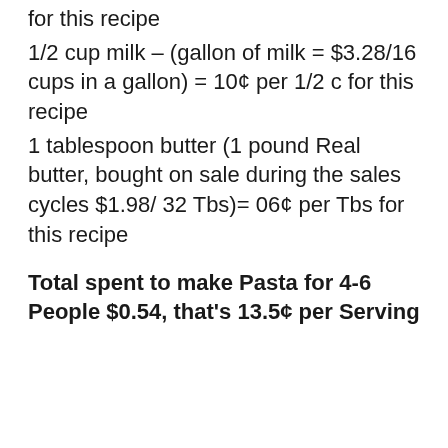for this recipe
1/2 cup milk – (gallon of milk = $3.28/16 cups in a gallon) = 10¢ per 1/2 c for this recipe
1 tablespoon butter (1 pound Real butter, bought on sale during the sales cycles $1.98/ 32 Tbs)= 06¢ per Tbs for this recipe
Total spent to make Pasta for 4-6 People $0.54, that's 13.5¢ per Serving